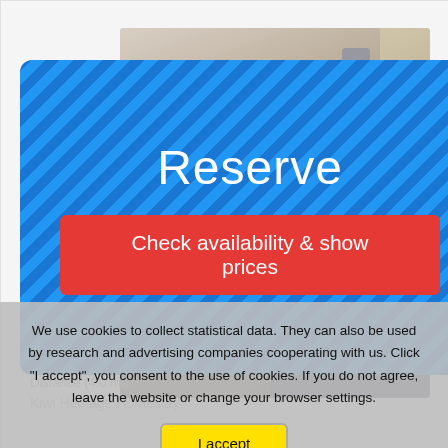[Figure (screenshot): Hotel booking website screenshot showing a blue diagonally-striped Reserve button overlay with a red 'Check availability & show prices' button, and a hotel room photo showing furniture including a dark sofa, wooden side table with books, and a lamp]
Reserve
Check availability & show prices
Located in Auckland, 7.5 mi from One Tree Hill, New Haven Motel
Distance (4.0 mi)
Kiwi Heritage Homestay
We use cookies to collect statistical data. They can also be used by research and advertising companies cooperating with us. Click "I accept", you consent to the use of cookies. If you do not agree, leave the website or change your browser settings.
I accept